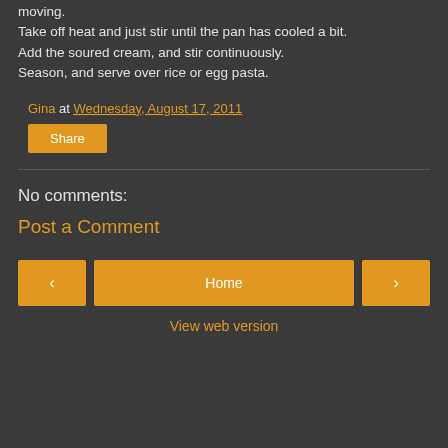moving.
Take off heat and just stir until the pan has cooled a bit.
Add the soured cream, and stir continuously.
Season, and serve over rice or egg pasta.
Gina at Wednesday, August 17, 2011
Share
No comments:
Post a Comment
Home
View web version